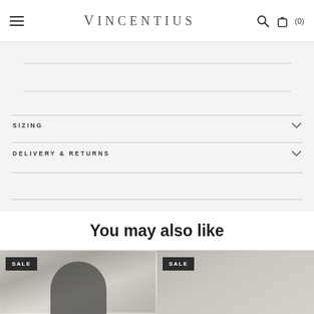Vincentius
SIZING
DELIVERY & RETURNS
You may also like
[Figure (photo): SALE product image left - person in dark hoodie]
[Figure (photo): SALE product image right - neutral background apparel]